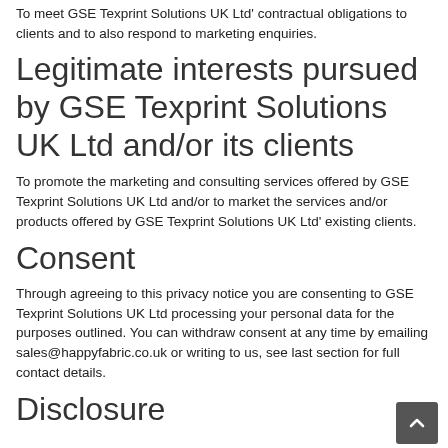To meet GSE Texprint Solutions UK Ltd' contractual obligations to clients and to also respond to marketing enquiries.
Legitimate interests pursued by GSE Texprint Solutions UK Ltd and/or its clients
To promote the marketing and consulting services offered by GSE Texprint Solutions UK Ltd and/or to market the services and/or products offered by GSE Texprint Solutions UK Ltd' existing clients.
Consent
Through agreeing to this privacy notice you are consenting to GSE Texprint Solutions UK Ltd processing your personal data for the purposes outlined. You can withdraw consent at any time by emailing sales@happyfabric.co.uk or writing to us, see last section for full contact details.
Disclosure